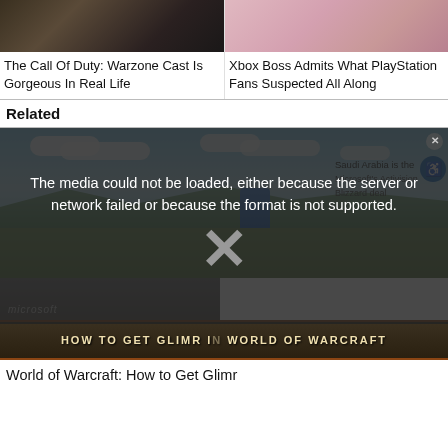[Figure (photo): Thumbnail photo of a bearded man, dark tones, top-left article card]
The Call Of Duty: Warzone Cast Is Gorgeous In Real Life
[Figure (photo): Thumbnail photo of a woman with pink hair, top-right article card]
Xbox Boss Admits What PlayStation Fans Suspected All Along
Related
[Figure (screenshot): World of Warcraft style screenshot with blue sky and landscape, partially obscured by media error overlay. Microsoft building visible. Accessibility icon button visible. Saudi Arabia text snippet visible. HOW TO GET GLIMR IN WORLD OF WARCRAFT banner at bottom.]
The media could not be loaded, either because the server or network failed or because the format is not supported.
World of Warcraft: How to Get Glimr